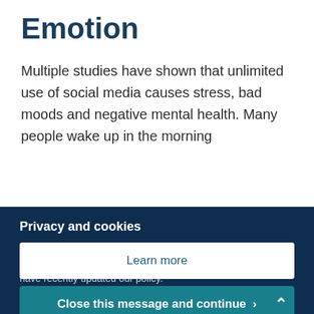Emotion
Multiple studies have shown that unlimited use of social media causes stress, bad moods and negative mental health. Many people wake up in the morning
Privacy and cookies
We use cookies to give you the best experience on our website. By continuing, you're agreeing to use of cookies. We have recently updated our policy.
Learn more
Close this message and continue >